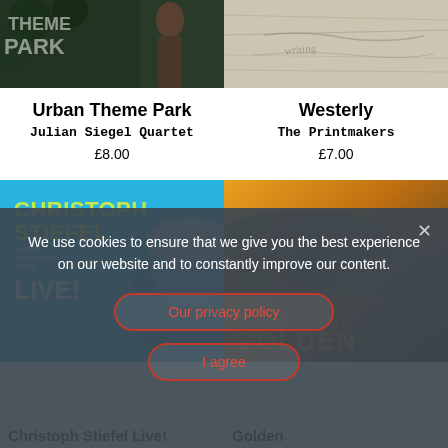[Figure (photo): Album cover for Urban Theme Park showing dark foliage and a figure]
[Figure (photo): Album cover for Westerly showing textured light surface with writing]
Urban Theme Park
Julian Siegel Quartet
£8.00
Westerly
The Printmakers
£7.00
[Figure (photo): Christoph Stiefel Live! album cover with blue background and face]
[Figure (photo): Golden album cover with warm golden sunset tones]
We use cookies to ensure that we give you the best experience on our website and to constantly improve our content.
Our privacy policy
I agree
Christoph Stiefel Live!
Golden